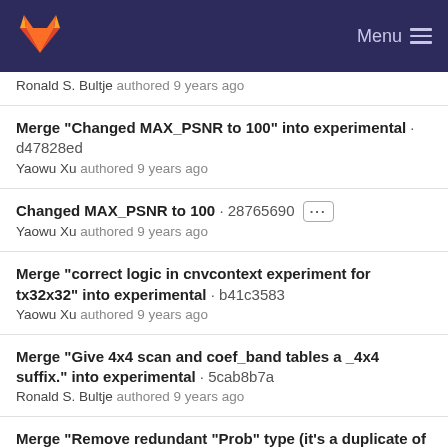Menu
Ronald S. Bultje authored 9 years ago
Merge "Changed MAX_PSNR to 100" into experimental · d47828ed
Yaowu Xu authored 9 years ago
Changed MAX_PSNR to 100 · 28765690
Yaowu Xu authored 9 years ago
Merge "correct logic in cnvcontext experiment for tx32x32" into experimental · b41c3583
Yaowu Xu authored 9 years ago
Merge "Give 4x4 scan and coef_band tables a _4x4 suffix." into experimental · 5cab8b7a
Ronald S. Bultje authored 9 years ago
Merge "Remove redundant "Prob" type (it's a duplicate of vp9_prob)." into experimental · 58961c74
Ronald S. Bultje authored 9 years ago